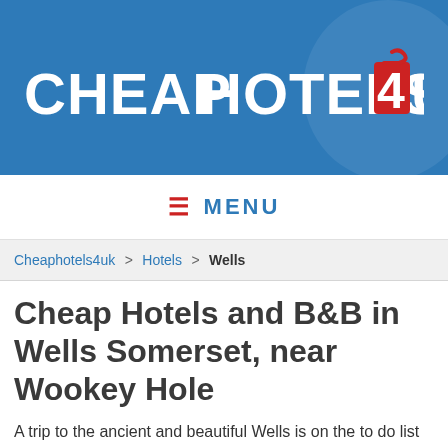CHEAPHOTELS4UK
MENU
Cheaphotels4uk > Hotels > Wells
Cheap Hotels and B&B in Wells Somerset, near Wookey Hole
A trip to the ancient and beautiful Wells is on the to do list for many visitors to England and Somerset has a wealth of activities and picturesque villages to explore. It has a lovely selection of places to stay and finding a room or self-catering cottage is